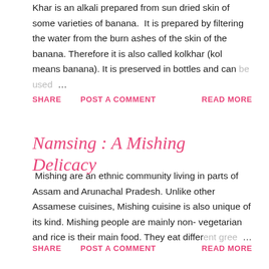Khar is an alkali prepared from sun dried skin of some varieties of banana. It is prepared by filtering the water from the burn ashes of the skin of the banana. Therefore it is also called kolkhar (kol means banana). It is preserved in bottles and can be used …
SHARE  POST A COMMENT  READ MORE
Namsing : A Mishing Delicacy
Mishing are an ethnic community living in parts of Assam and Arunachal Pradesh. Unlike other Assamese cuisines, Mishing cuisine is also unique of its kind. Mishing people are mainly non-vegetarian and rice is their main food. They eat different gree …
SHARE  POST A COMMENT  READ MORE